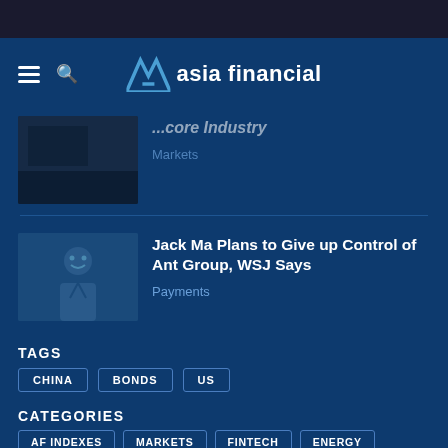asia financial
[Figure (photo): Thumbnail image - dark scene, partially visible]
...core Industry
Markets
[Figure (photo): Jack Ma thumbnail - man in white shirt]
Jack Ma Plans to Give up Control of Ant Group, WSJ Says
Payments
TAGS
CHINA
BONDS
US
CATEGORIES
AF INDEXES
MARKETS
FINTECH
ENERGY
TRANSPORT
HEALTH
REGIONS
OPINION